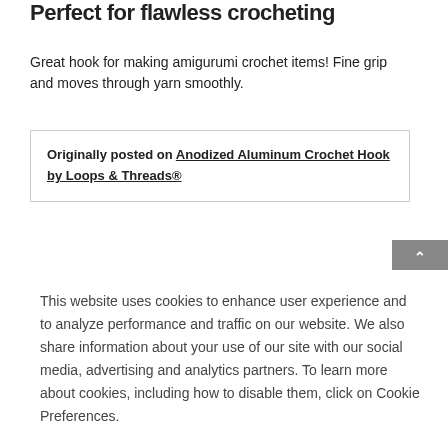Perfect for flawless crocheting
Great hook for making amigurumi crochet items! Fine grip and moves through yarn smoothly.
Originally posted on Anodized Aluminum Crochet Hook by Loops & Threads®
This website uses cookies to enhance user experience and to analyze performance and traffic on our website. We also share information about your use of our site with our social media, advertising and analytics partners. To learn more about cookies, including how to disable them, click on Cookie Preferences.
Cookie Preferences
Got It
This is my go to crochet hook. I love it. It has a good grip and perfect for my hand.